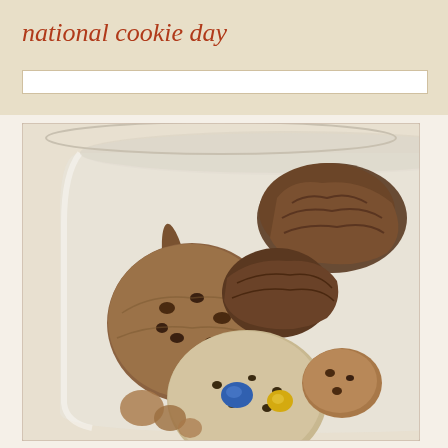national cookie day
[Figure (photo): A glass jar filled with various cookies including chocolate chip cookies and M&M cookies, viewed from above at a slight angle.]